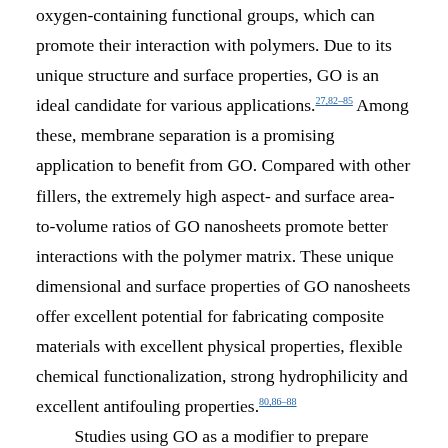oxygen-containing functional groups, which can promote their interaction with polymers. Due to its unique structure and surface properties, GO is an ideal candidate for various applications.27,82–85 Among these, membrane separation is a promising application to benefit from GO. Compared with other fillers, the extremely high aspect- and surface area-to-volume ratios of GO nanosheets promote better interactions with the polymer matrix. These unique dimensional and surface properties of GO nanosheets offer excellent potential for fabricating composite materials with excellent physical properties, flexible chemical functionalization, strong hydrophilicity and excellent antifouling properties.80,86–88 Studies using GO as a modifier to prepare nanofiltration and ultrafiltration hybrid nanocomposite membranes have achieved great improvements in hydrophilic and antifouling properties.86,89–91 However, water desalination with GO-based membranes still faces challenges and remains controversial. Some researchers have reported that solute rejection of GO-based membranes or reduced